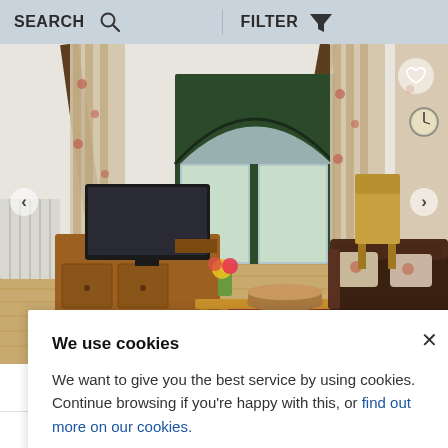SEARCH   FILTER
[Figure (photo): Interior photo of a cottage living room with leather sofa, wooden TV stand, floral curtains, wooden coffee table with a wicker basket, wooden floors, and french doors leading outside. A heart/favorite icon and carousel navigation arrows are overlaid.]
We use cookies
We want to give you the best service by using cookies. Continue browsing if you're happy with this, or find out more on our cookies.